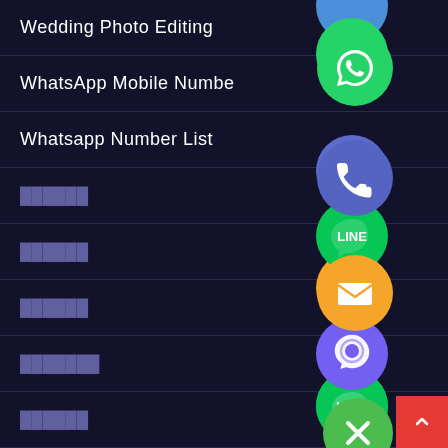Wedding Photo Editing
WhatsApp Mobile Number
Whatsapp Number List
██████
██████
██████
███████
██████
███████
[Figure (screenshot): Mobile app navigation menu with floating social media app icons (WhatsApp, Phone/Viber blue, Email orange, LINE green, Viber purple, close green X) on dark navy background, with a red back-to-top button in bottom right corner]